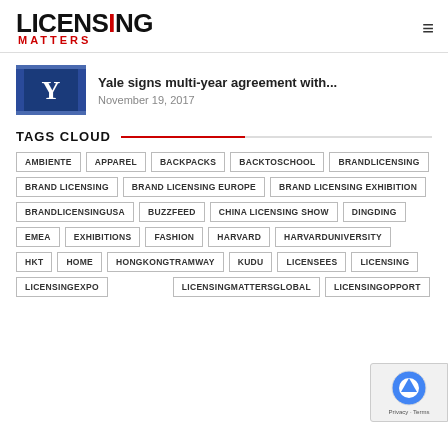[Figure (logo): Licensing Matters logo with red dot and red MATTERS text]
Yale signs multi-year agreement with...
November 19, 2017
TAGS CLOUD
AMBIENTE
APPAREL
BACKPACKS
BACKTOSCHOOL
BRANDLICENSING
BRAND LICENSING
BRAND LICENSING EUROPE
BRAND LICENSING EXHIBITION
BRANDLICENSINGUSA
BUZZFEED
CHINA LICENSING SHOW
DINGDING
EMEA
EXHIBITIONS
FASHION
HARVARD
HARVARDUNIVERSITY
HKT
HOME
HONGKONGTRAMWAY
KUDU
LICENSEES
LICENSING
LICENSINGEXPO
LICENSINGMATTERSGLOBAL
LICENSINGOPPORT...